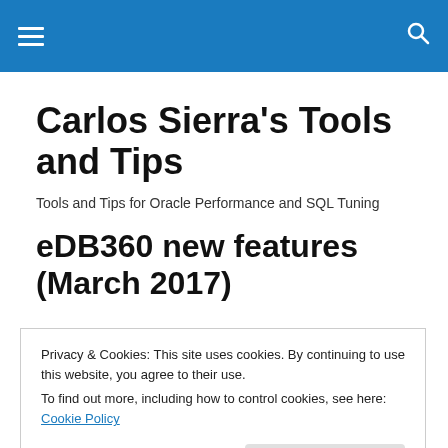Carlos Sierra's Tools and Tips [navigation bar with hamburger menu and search icon]
Carlos Sierra's Tools and Tips
Tools and Tips for Oracle Performance and SQL Tuning
eDB360 new features (March 2017)
Privacy & Cookies: This site uses cookies. By continuing to use this website, you agree to their use.
To find out more, including how to control cookies, see here: Cookie Policy
Close and accept